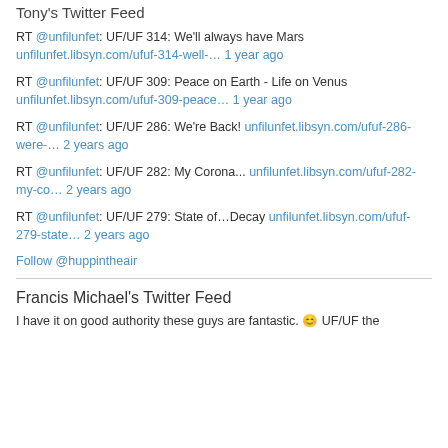Tony's Twitter Feed
RT @unfilunfet: UF/UF 314: We'll always have Mars unfilunfet.libsyn.com/ufuf-314-well-… 1 year ago
RT @unfilunfet: UF/UF 309: Peace on Earth - Life on Venus unfilunfet.libsyn.com/ufuf-309-peace… 1 year ago
RT @unfilunfet: UF/UF 286: We're Back! unfilunfet.libsyn.com/ufuf-286-were-… 2 years ago
RT @unfilunfet: UF/UF 282: My Corona... unfilunfet.libsyn.com/ufuf-282-my-co… 2 years ago
RT @unfilunfet: UF/UF 279: State of…Decay unfilunfet.libsyn.com/ufuf-279-state… 2 years ago
Follow @huppintheair
Francis Michael's Twitter Feed
I have it on good authority these guys are fantastic. 😊 UF/UF the